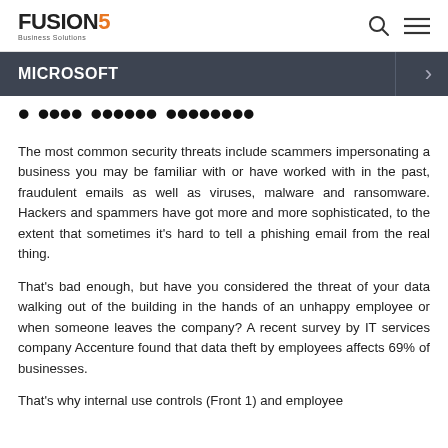FUSION5 Business Solutions
MICROSOFT
Front of System Security
The most common security threats include scammers impersonating a business you may be familiar with or have worked with in the past, fraudulent emails as well as viruses, malware and ransomware. Hackers and spammers have got more and more sophisticated, to the extent that sometimes it's hard to tell a phishing email from the real thing.
That's bad enough, but have you considered the threat of your data walking out of the building in the hands of an unhappy employee or when someone leaves the company? A recent survey by IT services company Accenture found that data theft by employees affects 69% of businesses.
That's why internal use controls (Front 1) and employee